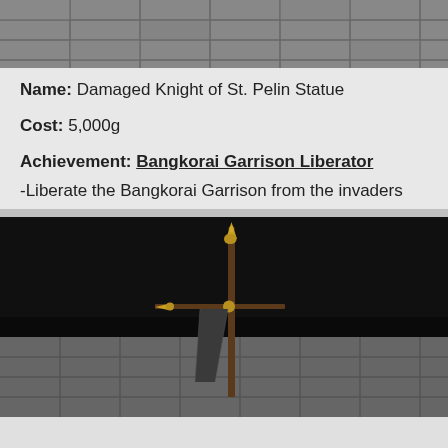[Figure (screenshot): Top portion of a game screenshot showing a stone tile floor with gray stone blocks visible, partially cropped at top]
Name: Damaged Knight of St. Pelin Statue
Cost: 5,000g
Achievement: Bangkorai Garrison Liberator
-Liberate the Bangkorai Garrison from the invaders
[Figure (screenshot): Game screenshot showing a decorative banner/standard weapon with golden spear tips and a dark hanging flag, set against a dark background on a stone tile floor]